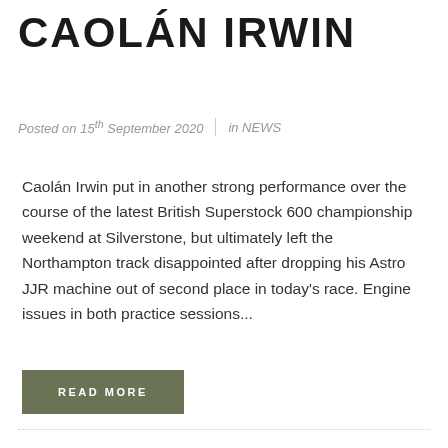CAOLÁN IRWIN
Posted on 15th September 2020 | in NEWS
Caolán Irwin put in another strong performance over the course of the latest British Superstock 600 championship weekend at Silverstone, but ultimately left the Northampton track disappointed after dropping his Astro JJR machine out of second place in today's race. Engine issues in both practice sessions...
READ MORE